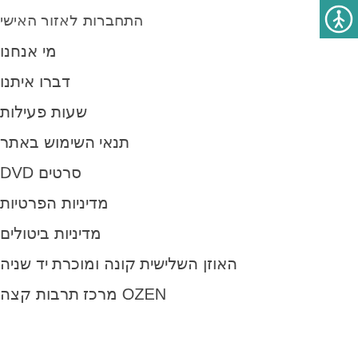[Figure (logo): Teal/green square accessibility icon with a circular person/wheelchair symbol]
התחברות לאזור האישי
מי אנחנו
דברו איתנו
שעות פעילות
תנאי השימוש באתר
סרטים DVD
מדיניות הפרטיות
מדיניות ביטולים
האוזן השלישית קונה ומוכרת יד שניה
OZEN מרכז תרבות קצה